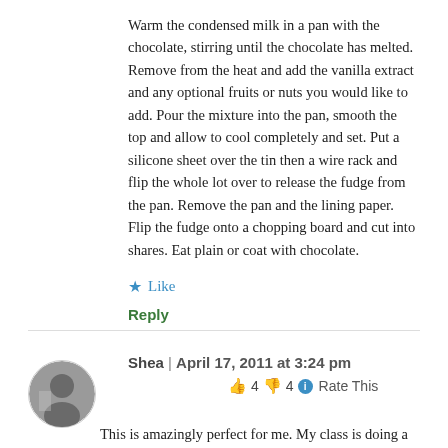Warm the condensed milk in a pan with the chocolate, stirring until the chocolate has melted. Remove from the heat and add the vanilla extract and any optional fruits or nuts you would like to add. Pour the mixture into the pan, smooth the top and allow to cool completely and set. Put a silicone sheet over the tin then a wire rack and flip the whole lot over to release the fudge from the pan. Remove the pan and the lining paper. Flip the fudge onto a chopping board and cut into shares. Eat plain or coat with chocolate.
★ Like
Reply
Shea | April 17, 2011 at 3:24 pm
👍 4 👎 4 ℹ Rate This
This is amazingly perfect for me. My class is doing a